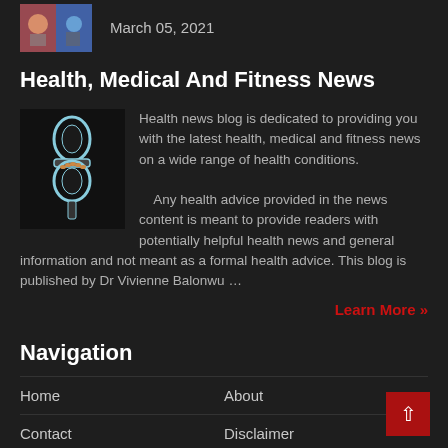March 05, 2021
Health, Medical And Fitness News
[Figure (photo): Medical/joint X-ray style image showing spine or joint]
Health news blog is dedicated to providing you with the latest health, medical and fitness news on a wide range of health conditions.

Any health advice provided in the news content is meant to provide readers with potentially helpful health news and general information and not meant as a formal health advice. This blog is published by Dr Vivienne Balonwu …
Learn More »
Navigation
Home
About
Contact
Disclaimer